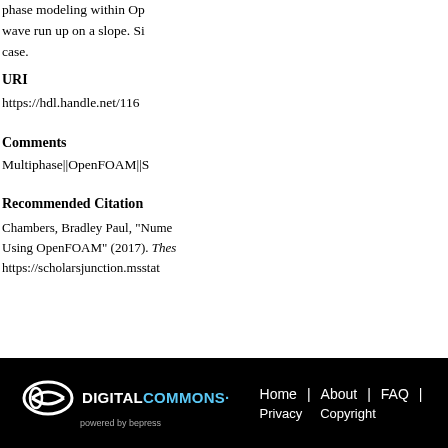phase modeling within Op... wave run up on a slope. Si... case.
URI
https://hdl.handle.net/116...
Comments
Multiphase||OpenFOAM||S...
Recommended Citation
Chambers, Bradley Paul, "Nume... Using OpenFOAM" (2017). Thes... https://scholarsjunction.msstat...
DIGITAL COMMONS powered by bepress | Home | About | FAQ | Privacy | Copyright